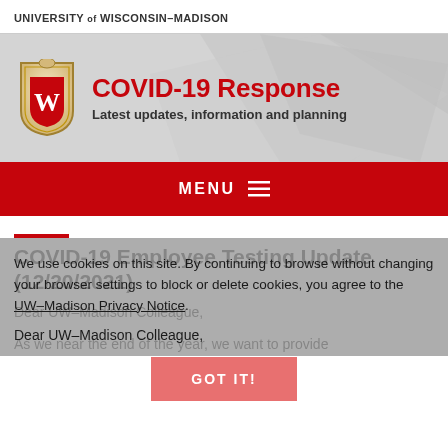UNIVERSITY of WISCONSIN–MADISON
[Figure (logo): UW-Madison COVID-19 Response banner with shield logo, title 'COVID-19 Response', subtitle 'Latest updates, information and planning']
MENU ≡
COVID-19 Employee Testing Update (12/20/2021)
We use cookies on this site. By continuing to browse without changing your browser settings to block or delete cookies, you agree to the UW–Madison Privacy Notice.
Dear UW–Madison Colleague,
As we near the end of the year, we want to provide